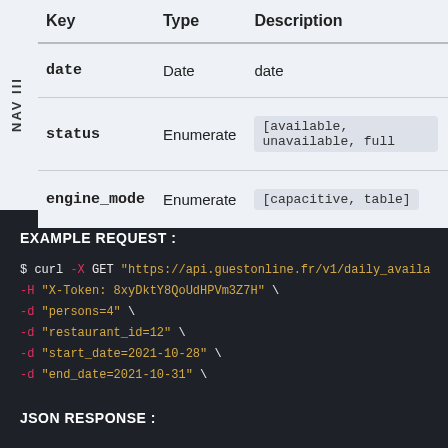| Key | Type | Description |
| --- | --- | --- |
| date | Date | date |
| status | Enumerate | [available, unavailable, full] |
| engine_mode | Enumerate | [capacitive, table] |
EXAMPLE REQUEST :
$ curl -X GET "https://api.guestonline.fr/v1/daily_availa..."
-H "X-Token: 8xyDktY8QoUdHPVm3Z7H" \
-d "persons=4" \
-d "restaurant_id=12" \
-d "start_date=2021-10-28" \
-d "end_date=2021-10-31" \
JSON RESPONSE :